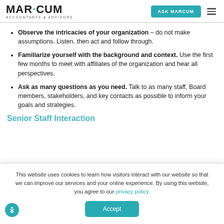MARCUM ACCOUNTANTS & ADVISORS | ASK MARCUM
Observe the intricacies of your organization – do not make assumptions. Listen, then act and follow through.
Familiarize yourself with the background and context. Use the first few months to meet with affiliates of the organization and hear all perspectives.
Ask as many questions as you need. Talk to as many staff, Board members, stakeholders, and key contacts as possible to inform your goals and strategies.
Senior Staff Interaction
This website uses cookies to learn how visitors interact with our website so that we can improve our services and your online experience. By using this website, you agree to our privacy policy.
Accept